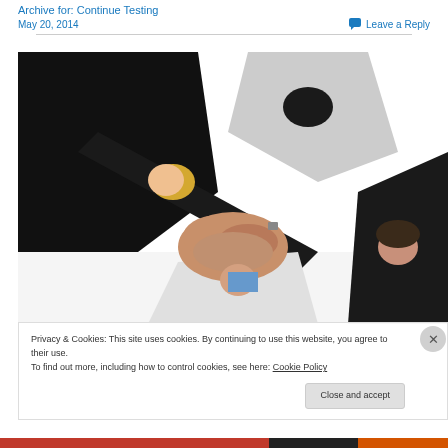Archive for: Advantages of Continuous Testing
May 20, 2014
Leave a Reply
[Figure (photo): Four business people forming a circle from below, putting hands together in the center, teamwork concept photo taken from below looking up]
Privacy & Cookies: This site uses cookies. By continuing to use this website, you agree to their use.
To find out more, including how to control cookies, see here: Cookie Policy
Close and accept